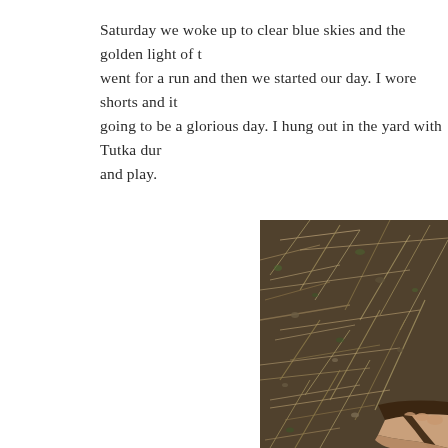Saturday we woke up to clear blue skies and the golden light of t went for a run and then we started our day. I wore shorts and it going to be a glorious day. I hung out in the yard with Tutka dur and play.
[Figure (photo): Close-up photo of dry brown grass and dead leaves on ground, with a human foot wearing a sandal visible in the lower right corner of the image.]